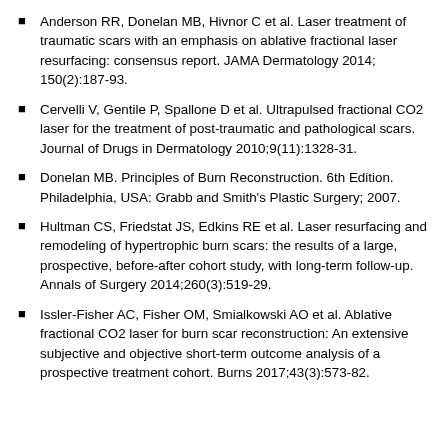Anderson RR, Donelan MB, Hivnor C et al. Laser treatment of traumatic scars with an emphasis on ablative fractional laser resurfacing: consensus report. JAMA Dermatology 2014; 150(2):187-93.
Cervelli V, Gentile P, Spallone D et al. Ultrapulsed fractional CO2 laser for the treatment of post-traumatic and pathological scars. Journal of Drugs in Dermatology 2010;9(11):1328-31.
Donelan MB. Principles of Burn Reconstruction. 6th Edition. Philadelphia, USA: Grabb and Smith's Plastic Surgery; 2007.
Hultman CS, Friedstat JS, Edkins RE et al. Laser resurfacing and remodeling of hypertrophic burn scars: the results of a large, prospective, before-after cohort study, with long-term follow-up. Annals of Surgery 2014;260(3):519-29.
Issler-Fisher AC, Fisher OM, Smialkowski AO et al. Ablative fractional CO2 laser for burn scar reconstruction: An extensive subjective and objective short-term outcome analysis of a prospective treatment cohort. Burns 2017;43(3):573-82.